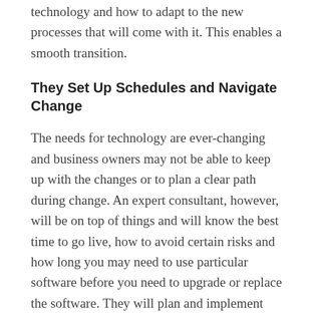best way to introduce the people to the new technology and how to adapt to the new processes that will come with it. This enables a smooth transition.
They Set Up Schedules and Navigate Change
The needs for technology are ever-changing and business owners may not be able to keep up with the changes or to plan a clear path during change. An expert consultant, however, will be on top of things and will know the best time to go live, how to avoid certain risks and how long you may need to use particular software before you need to upgrade or replace the software. They will plan and implement schedules so that you do not have to worry about such details that